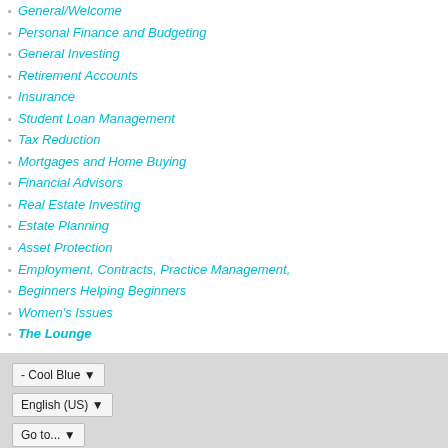General/Welcome
Personal Finance and Budgeting
General Investing
Retirement Accounts
Insurance
Student Loan Management
Tax Reduction
Mortgages and Home Buying
Financial Advisors
Real Estate Investing
Estate Planning
Asset Protection
Employment, Contracts, Practice Management,
Beginners Helping Beginners
Women's Issues
The Lounge
- Cool Blue ▾
English (US) ▾
Go to... ▾
Copyright 2020 - The White Coat Investor, LLC
Powered by vBulletin® Version 5.6.9
Copyright © 2022 MH Sub I, LLC dba vBulletin. All rights reserved.
All times are GMT-7. This page was generated at 08:56 PM.